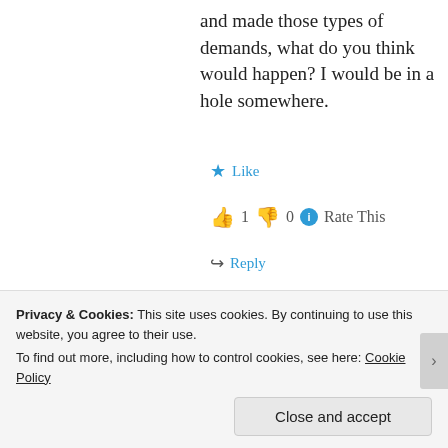and made those types of demands, what do you think would happen? I would be in a hole somewhere.
★ Like
👍 1 👎 0 ℹ Rate This
↪ Reply
1 Jun 2013 at 9:11 pm
You tell me you think muslims should integrate or piss off
Privacy & Cookies: This site uses cookies. By continuing to use this website, you agree to their use. To find out more, including how to control cookies, see here: Cookie Policy
Close and accept